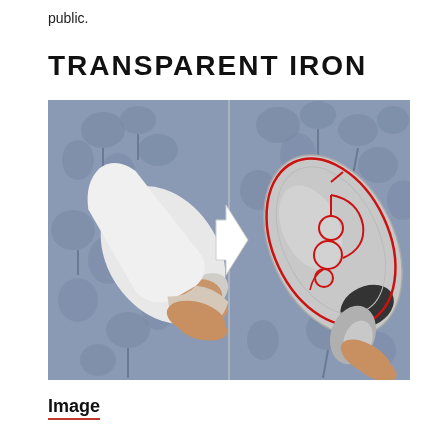public.
TRANSPARENT IRON
[Figure (photo): Two side-by-side photos showing a transparent iron concept. Left: a hand holding a conventional white iron against a floral wallpaper. An arrow points right. Right: a transparent/glass iron with red internal mechanism lines visible, held against the same floral wallpaper.]
Image